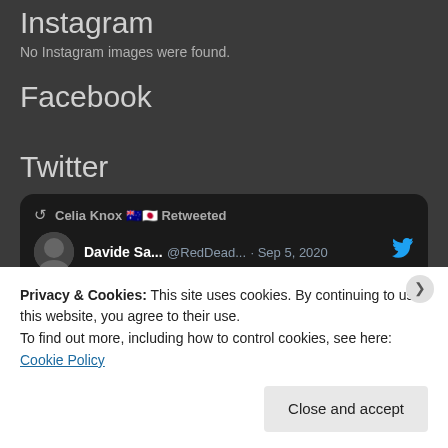Instagram
No Instagram images were found.
Facebook
Twitter
[Figure (screenshot): Twitter embed card showing Celia Knox retweeted, with Davide Sa... @RedDead... · Sep 5, 2020 tweet and Twitter bird icon]
Privacy & Cookies: This site uses cookies. By continuing to use this website, you agree to their use.
To find out more, including how to control cookies, see here:
Cookie Policy
Close and accept